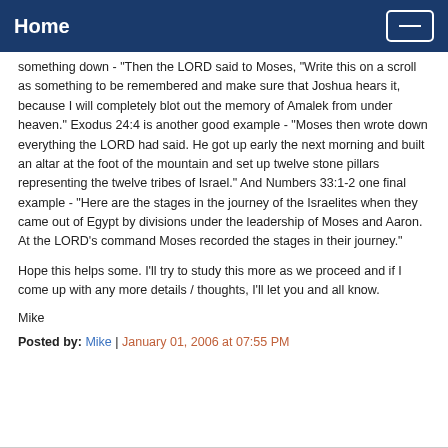Home
something down - "Then the LORD said to Moses, "Write this on a scroll as something to be remembered and make sure that Joshua hears it, because I will completely blot out the memory of Amalek from under heaven." Exodus 24:4 is another good example - "Moses then wrote down everything the LORD had said. He got up early the next morning and built an altar at the foot of the mountain and set up twelve stone pillars representing the twelve tribes of Israel." And Numbers 33:1-2 one final example - "Here are the stages in the journey of the Israelites when they came out of Egypt by divisions under the leadership of Moses and Aaron. At the LORD's command Moses recorded the stages in their journey."
Hope this helps some. I'll try to study this more as we proceed and if I come up with any more details / thoughts, I'll let you and all know.
Mike
Posted by: Mike | January 01, 2006 at 07:55 PM